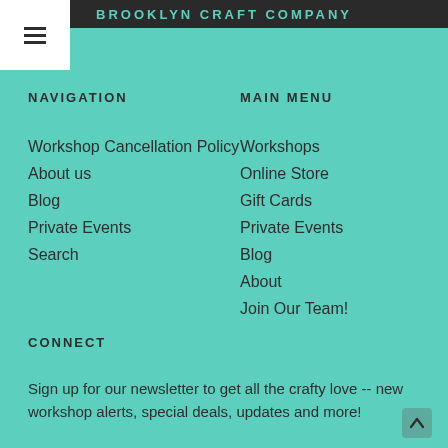BROOKLYN CRAFT COMPANY
[Figure (other): Hamburger menu icon (three horizontal lines) in a white square box]
NAVIGATION
Workshop Cancellation Policy
About us
Blog
Private Events
Search
MAIN MENU
Workshops
Online Store
Gift Cards
Private Events
Blog
About
Join Our Team!
CONNECT
Sign up for our newsletter to get all the crafty love -- new workshop alerts, special deals, updates and more!